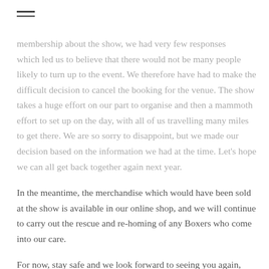[Figure (other): Hamburger menu icon (three horizontal lines)]
membership about the show, we had very few responses which led us to believe that there would not be many people likely to turn up to the event.  We therefore have had to make the difficult decision to cancel the booking for the venue.  The show takes a huge effort on our part to organise and then a mammoth effort to set up on the day, with all of us travelling many miles to get there.  We are so sorry to disappoint, but we made our decision based on the information we had at the time.  Let’s hope we can all get back together again next year.
In the meantime, the merchandise which would have been sold at the show is available in our online shop, and we will continue to carry out the rescue and re-homing of any Boxers who come into our care.
For now, stay safe and we look forward to seeing you again, soon.